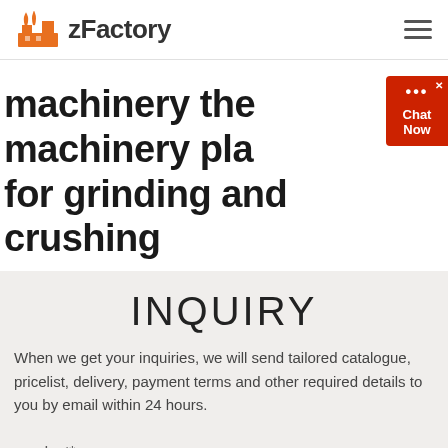zFactory
machinery the machinery pla for grinding and crushing
[Figure (other): Chat Now widget button with red background and close X button]
INQUIRY
When we get your inquiries, we will send tailored catalogue, pricelist, delivery, payment terms and other required details to you by email within 24 hours.
pruduct*
Application*